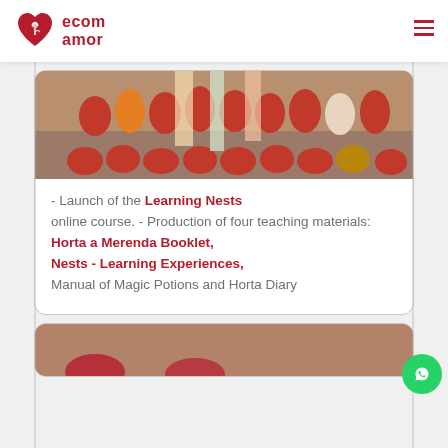ecom amor
[Figure (photo): Group photo of people wearing red shirts posing together, some sitting on the floor and some standing, in an indoor/outdoor setting with colorful materials around them.]
- Launch of the Learning Nests online course. - Production of four teaching materials: Horta a Merenda Booklet, Nests - Learning Experiences, Manual of Magic Potions and Horta Diary
[Figure (photo): Partially visible card at bottom of page, showing beginning of another image.]